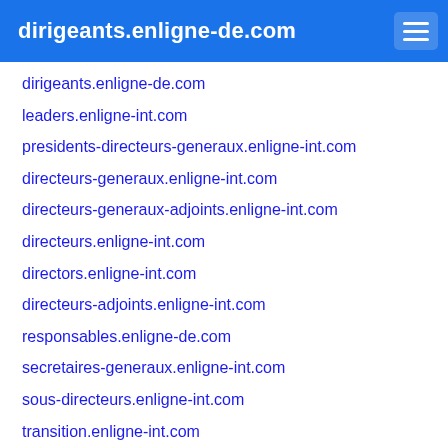dirigeants.enligne-de.com
dirigeants.enligne-de.com
leaders.enligne-int.com
presidents-directeurs-generaux.enligne-int.com
directeurs-generaux.enligne-int.com
directeurs-generaux-adjoints.enligne-int.com
directeurs.enligne-int.com
directors.enligne-int.com
directeurs-adjoints.enligne-int.com
responsables.enligne-de.com
secretaires-generaux.enligne-int.com
sous-directeurs.enligne-int.com
transition.enligne-int.com
managers.enligne-de.com